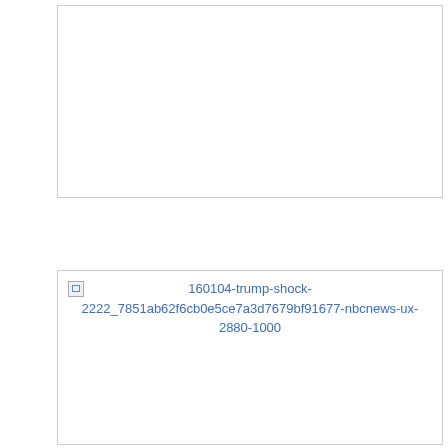[Figure (photo): Empty image placeholder box at top of page, no content loaded]
[Figure (photo): Broken image placeholder with alt text '160104-trump-shock-2222_7851ab62f6cb0e5ce7a3d7679bf91677-nbcnews-ux-2880-1000']